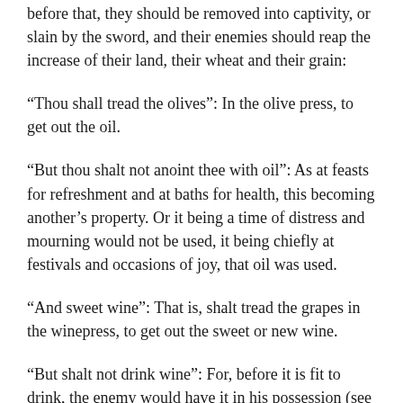before that, they should be removed into captivity, or slain by the sword, and their enemies should reap the increase of their land, their wheat and their grain:
“Thou shall tread the olives”: In the olive press, to get out the oil.
“But thou shalt not anoint thee with oil”: As at feasts for refreshment and at baths for health, this becoming another’s property. Or it being a time of distress and mourning would not be used, it being chiefly at festivals and occasions of joy, that oil was used.
“And sweet wine”: That is, shalt tread the grapes in the winepress, to get out the sweet or new wine.
“But shalt not drink wine”: For, before it is fit to drink, the enemy would have it in his possession (see Lev. 26:16). These are the punishments or corrections of the rod they